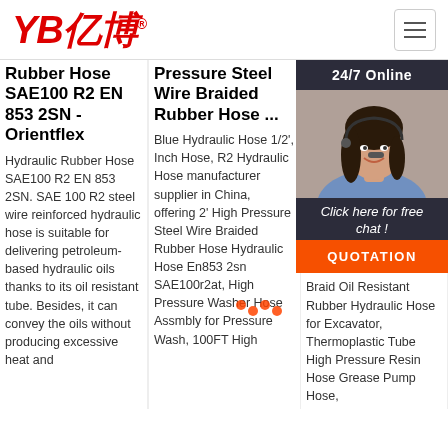YB亿博 navigation bar with logo and hamburger menu
Rubber Hose SAE100 R2 EN 853 2SN - Orientflex
Hydraulic Rubber Hose SAE100 R2 EN 853 2SN. SAE 100 R2 steel wire reinforced hydraulic hose is suitable for delivering petroleum-based hydraulic oils thanks to its oil resistant tube. Besides, it can convey the oils without producing excessive heat and
Pressure Steel Wire Braided Rubber Hose ...
Blue Hydraulic Hose 1/2', Inch Hose, R2 Hydraulic Hose manufacturer supplier in China, offering 2' High Pressure Steel Wire Braided Rubber Hose Hydraulic Hose En853 2sn SAE100r2at, High Pressure Washer Hose Assmbly for Pressure Wash, 100FT High
Pressure Steel Wi... Re... Ru...
Hig... Hyc... Hyc... Rub... ma... sup... offe... Braid Oil Resistant Rubber Hydraulic Hose for Excavator, Thermoplastic Tube High Pressure Resin Hose Grease Pump Hose,
[Figure (photo): Customer service representative woman with headset, smiling, with 24/7 Online header, Click here for free chat text, and QUOTATION orange button overlay]